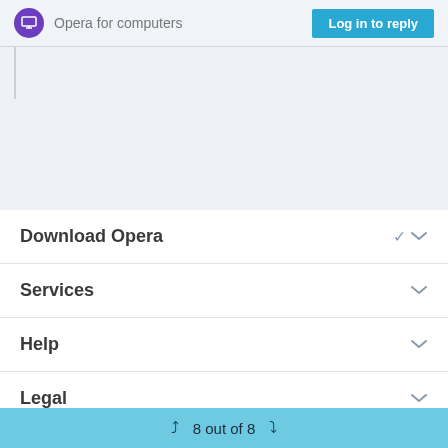Opera for computers | Log in to reply
Download Opera
Services
Help
Legal
Company
8 out of 8